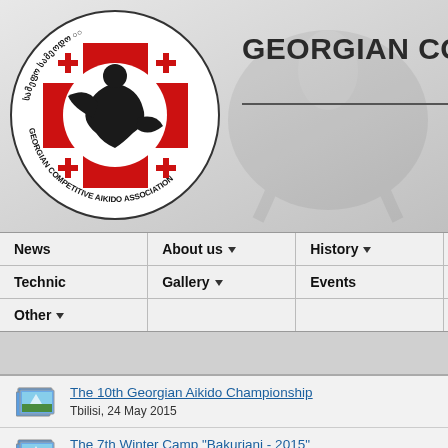[Figure (logo): Georgian Competitive Aikido Association circular logo with red cross, aikido figure silhouette, and text around the border in Georgian and English]
GEORGIAN CO
| News | About us ▾ | History ▾ |
| --- | --- | --- |
| Technic | Gallery ▾ | Events |
| Other ▾ |  |  |
The 10th Georgian Aikido Championship — Tbilisi, 24 May 2015
The 7th Winter Camp "Bakuriani - 2015" — Bakuriani, 15-20 January 2015
The 11th Tbilisi Open Aikido Tournament (partial, cut off)